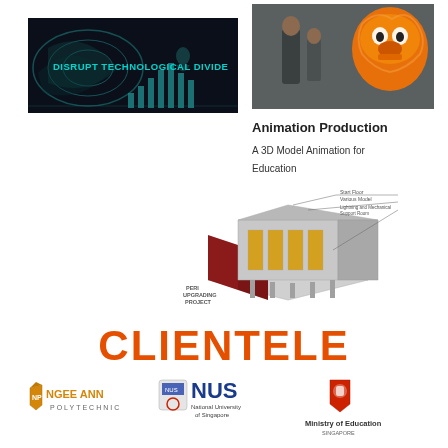[Figure (screenshot): Dark digital animation still with text 'DISRUPT TECHNOLOGICAL DIVIDE' and glowing green swirl graphics]
[Figure (photo): People interacting with a lion dance performer outdoors against a grey wall]
Animation Production
A 3D Model Animation for Education
[Figure (engineering-diagram): 3D architectural or engineering diagram labeled 'PERI UPGRADING PROJECT' with labeled components including Start Floor, Various Model, Lightning and Mechanical Support Room]
CLIENTELE
[Figure (logo): Ngee Ann Polytechnic logo]
[Figure (logo): NUS National University of Singapore logo]
[Figure (logo): Ministry of Education Singapore logo]